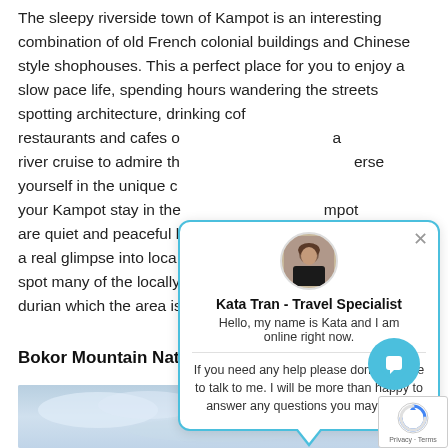The sleepy riverside town of Kampot is an interesting combination of old French colonial buildings and Chinese style shophouses. This a perfect place for you to enjoy a slow pace life, spending hours wandering the streets spotting architecture, drinking coffee restaurants and cafes a river cruise to admire th erse yourself in the unique c your Kampot stay in the npot are quiet and peaceful b you a real glimpse into loca to spot many of the locally s durian which the area is famed for.
[Figure (screenshot): Live chat popup overlay with avatar of Kata Tran - Travel Specialist, showing greeting messages]
Bokor Mountain National Park is stunning
[Figure (photo): Sky/clouds photo for Bokor Mountain National Park section]